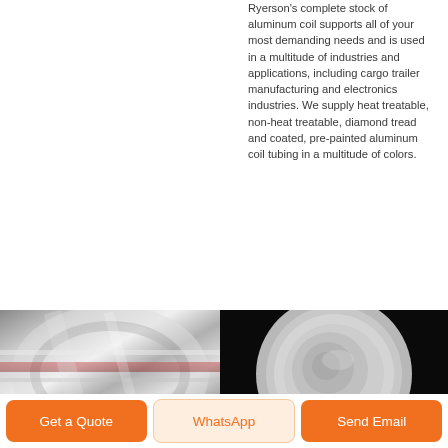Ryerson's complete stock of aluminum coil supports all of your most demanding needs and is used in a multitude of industries and applications, including cargo trailer manufacturing and electronics industries. We supply heat treatable, non-heat treatable, diamond tread and coated, pre-painted aluminum coil tubing in a multitude of colors.
[Figure (photo): Close-up photo of shiny aluminum coil roll, metallic silver surface with reflective highlights]
[Figure (photo): Circular aluminum disc on dark black background, showing round aluminum coil product]